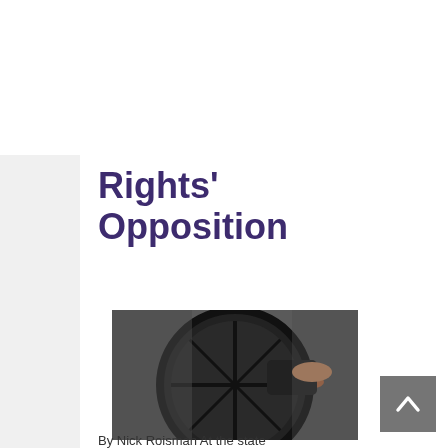[Figure (logo): New York Alliance Against Assisted Suicide logo — outline of New York state in purple with green text reading NEW YORK ALLIANCE and a purple banner reading AGAINST ASSISTED SUICIDE]
Rights' Opposition
[Figure (photo): Close-up photo of a person's hand gripping a wheelchair wheel, wearing black clothing, blurred background]
By Nick Roisman At the state